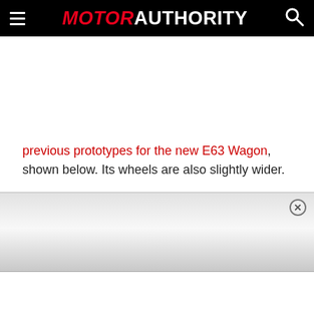MOTOR AUTHORITY
previous prototypes for the new E63 Wagon, shown below. Its wheels are also slightly wider.
[Figure (photo): Green foliage/trees visible at top of an image strip, partially obscured by an ad overlay popup with a close (x) button]